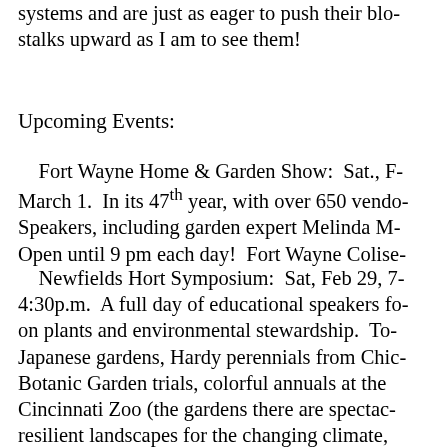systems and are just as eager to push their blo- stalks upward as I am to see them!
Upcoming Events:
Fort Wayne Home & Garden Show: Sat., F- March 1. In its 47th year, with over 650 vendo- Speakers, including garden expert Melinda M- Open until 9 pm each day! Fort Wayne Colise-
Newfields Hort Symposium: Sat, Feb 29, 7- 4:30p.m. A full day of educational speakers fo- on plants and environmental stewardship. To- Japanese gardens, Hardy perennials from Chic- Botanic Garden trials, colorful annuals at the Cincinnati Zoo (the gardens there are spectac- resilient landscapes for the changing climate, integrating art & horticulture, houseplant care public; $70 members. Includes morning refreshments and lunch. Buy tickets on-line a-